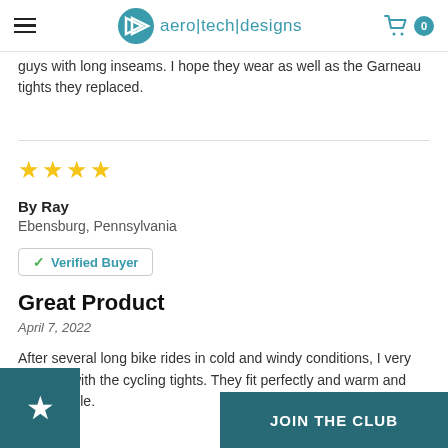aero|tech|designs
guys with long inseams. I hope they wear as well as the Garneau tights they replaced.
By Ray
Ebensburg, Pennsylvania
Verified Buyer
Great Product
April 7, 2022
After several long bike rides in cold and windy conditions, I very pleased with the cycling tights. They fit perfectly and warm and comfortable.